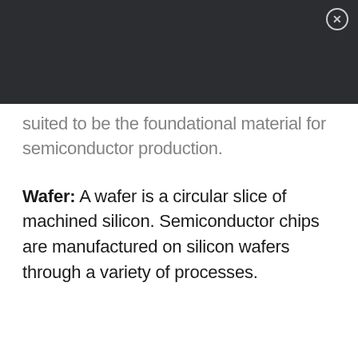suited to be the foundational material for semiconductor production.
Wafer: A wafer is a circular slice of machined silicon. Semiconductor chips are manufactured on silicon wafers through a variety of processes.